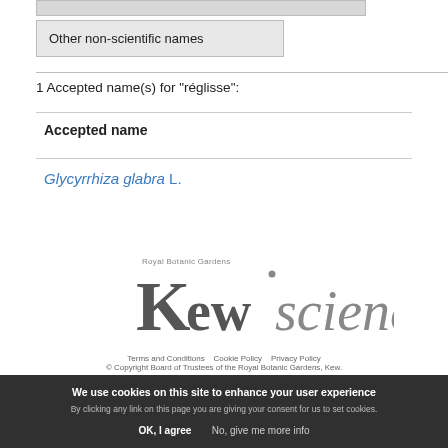| Other non-scientific names |
| --- |
1 Accepted name(s) for "réglisse":
Accepted name
Glycyrrhiza glabra L.
[Figure (logo): Kew Science logo — Royal Botanic Gardens Kew wordmark with 'Kew' in bold serif and 'science' in italic grey]
We use cookies on this site to enhance your user experience
By clicking any link on this page you are giving your consent for us to set cookies.
OK, I agree    No, give me more info
Terms and Conditions    Cookie Policy    Privacy Policy
© Copyright Board of Trustees of the Royal Botanic Gardens, Kew.